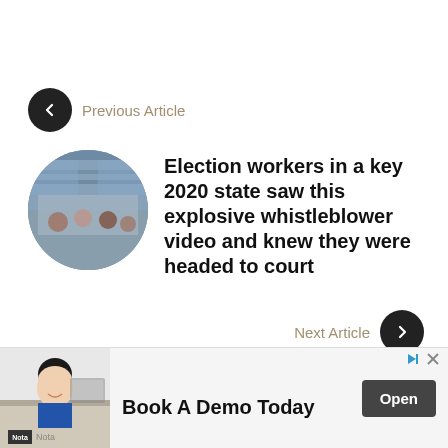Previous Article
Election workers in a key 2020 state saw this explosive whistleblower video and knew they were headed to court
Next Article
Antifa foe Andy Ngo is getting the hammer dropped on him
[Figure (screenshot): Web page screenshot showing article navigation and advertisement banner]
Book A Demo Today
Nota